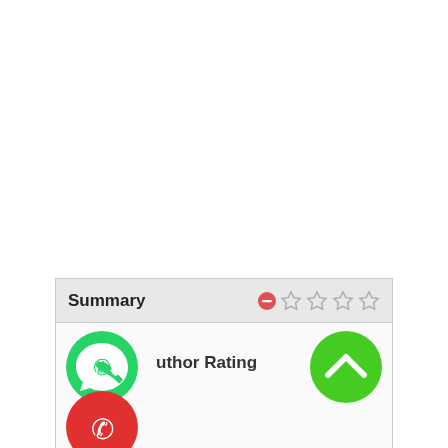[Figure (screenshot): UI panel showing a Summary section header with a red minus icon and four empty star rating icons, followed by a body area with a green WhatsApp phone icon top-left, red phone icon bottom-left, green circle with upward chevron top-right, and bold text 'Author Rating' in the middle.]